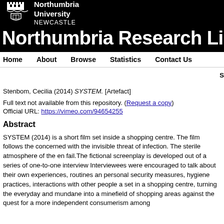[Figure (logo): Northumbria University Newcastle logo with crest on black background]
Northumbria Research Link
Home   About   Browse   Statistics   Contact Us
Stenbom, Cecilia (2014) SYSTEM. [Artefact]
Full text not available from this repository. (Request a copy)
Official URL: https://vimeo.com/94654255
Abstract
SYSTEM (2014) is a short film set inside a shopping centre. The film follows the concerned with the invisible threat of infection. The sterile atmosphere of the en fail.The fictional screenplay is developed out of a series of one-to-one interview Interviewees were encouraged to talk about their own experiences, routines and personal security measures, hygiene practices, interactions with other people a set in a shopping centre, turning the everyday and mundane into a minefield of shopping areas against the quest for a more independent consumerism among